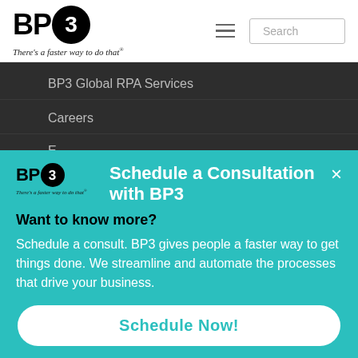[Figure (logo): BP3 logo with circle around '3' and tagline 'There's a faster way to do that']
[Figure (screenshot): Hamburger menu icon (three horizontal lines)]
Search
BP3 Global RPA Services
Careers
E...
[Figure (logo): BP3 small logo with tagline in modal]
Schedule a Consultation with BP3
Want to know more?
Schedule a consult. BP3 gives people a faster way to get things done. We streamline and automate the processes that drive your business.
Schedule Now!